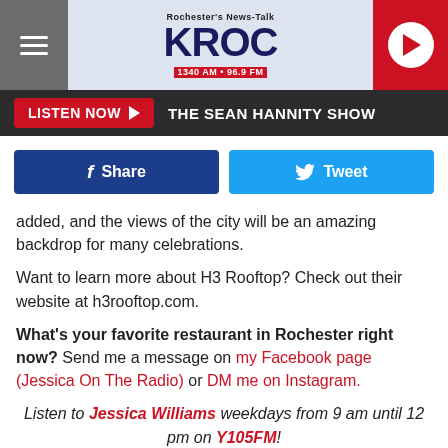Rochester's News-Talk KROC 1340 AM • 96.9 FM
LISTEN NOW ▶  THE SEAN HANNITY SHOW
[Figure (screenshot): Facebook Share button and Twitter Tweet button]
added, and the views of the city will be an amazing backdrop for many celebrations.
Want to learn more about H3 Rooftop?  Check out their website at h3rooftop.com.
What's your favorite restaurant in Rochester right now?  Send me a message on my Facebook page (Jessica On The Radio) or DM me on Instagram.
Listen to Jessica Williams weekdays from 9 am until 12 pm on Y105FM!